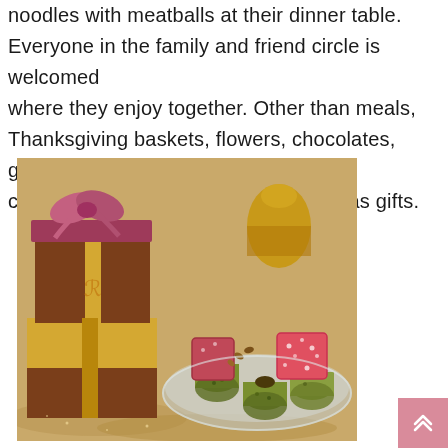noodles with meatballs at their dinner table. Everyone in the family and friend circle is welcomed where they enjoy together. Other than meals, Thanksgiving baskets, flowers, chocolates, greeting cards, and much more are presented as gifts.
[Figure (photo): A photo showing decorative gift boxes stacked (brown and gold with a ribbon bow on top), alongside a glass plate of assorted sweets including baklava rolls, Turkish delight cubes dusted with powdered sugar, and other confections. A golden vase is visible in the background.]